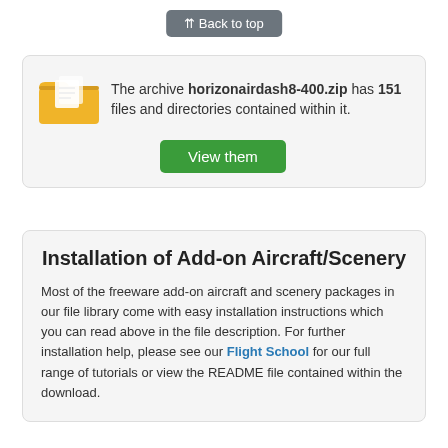↑↑ Back to top
The archive horizonairdash8-400.zip has 151 files and directories contained within it.
View them
Installation of Add-on Aircraft/Scenery
Most of the freeware add-on aircraft and scenery packages in our file library come with easy installation instructions which you can read above in the file description. For further installation help, please see our Flight School for our full range of tutorials or view the README file contained within the download.